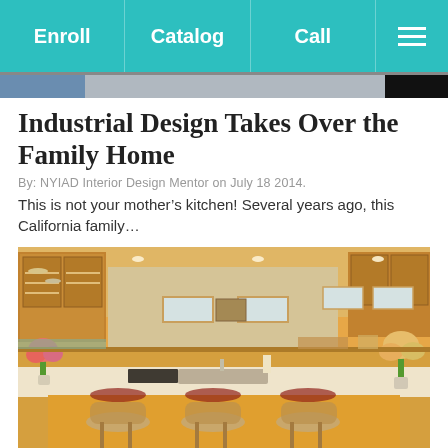Enroll | Catalog | Call | ☰
Industrial Design Takes Over the Family Home
By: NYIAD Interior Design Mentor on July 18 2014.
This is not your mother's kitchen! Several years ago, this California family…
[Figure (photo): Interior photo of a large open-plan kitchen with warm wood cabinetry, a large island with white countertop, bar stools, recessed lighting, and flowers on the counter.]